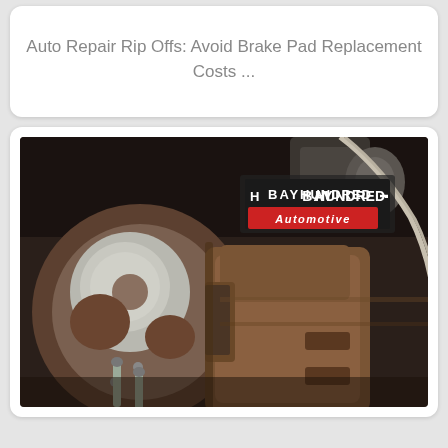Auto Repair Rip Offs: Avoid Brake Pad Replacement Costs ...
[Figure (photo): Close-up photograph of a worn brake caliper and brake disc/rotor on a vehicle wheel assembly. A 'Bay Hundred Automotive' logo/sign is visible in the upper portion of the image. The brake components show significant rust and wear.]